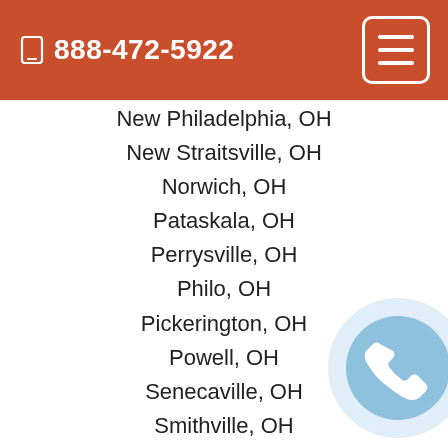888-472-5922
New Philadelphia, OH
New Straitsville, OH
Norwich, OH
Pataskala, OH
Perrysville, OH
Philo, OH
Pickerington, OH
Powell, OH
Senecaville, OH
Smithville, OH
Sparta, OH
Sugarcreek, OH
Summit Station, OH
Sunbury, OH
Tuscarawas, OH
Uhrichsville, OH
West Rushville, OH
West Salem, OH
[Figure (illustration): Circular phone icon button with light blue background and white phone handset symbol]